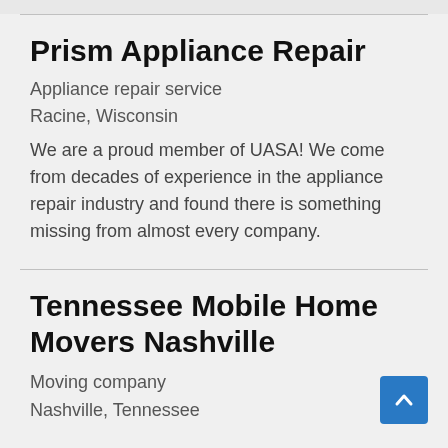Prism Appliance Repair
Appliance repair service
Racine, Wisconsin
We are a proud member of UASA! We come from decades of experience in the appliance repair industry and found there is something missing from almost every company.
Tennessee Mobile Home Movers Nashville
Moving company
Nashville, Tennessee